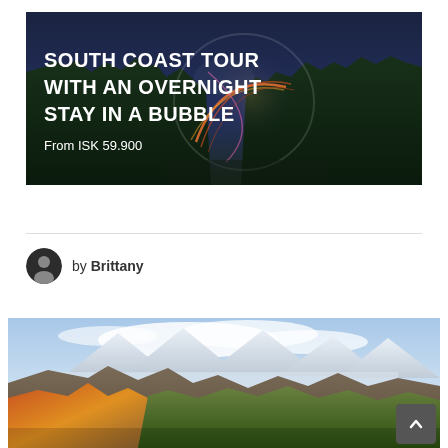[Figure (photo): Dark night-sky photo of a transparent bubble dome in a forest with light trails, overlaid with white bold text: 'SOUTH COAST TOUR WITH AN OVERNIGHT STAY IN A BUBBLE' and 'From ISK 59.900']
by Brittany
[Figure (photo): Aerial landscape photo of mountains with snow, glaciers, autumn foliage, and clouds, appearing to be a highland Icelandic scene.]